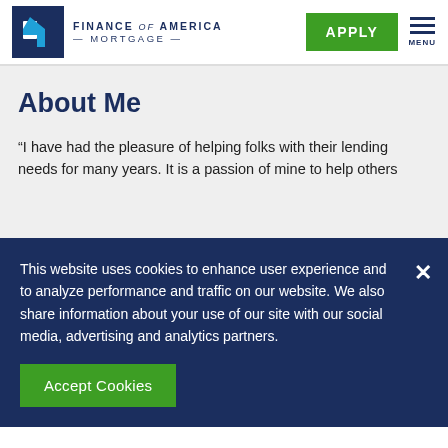[Figure (logo): Finance of America Mortgage logo with blue square icon and text]
APPLY  MENU
About Me
“I have had the pleasure of helping folks with their lending needs for many years. It is a passion of mine to help others
This website uses cookies to enhance user experience and to analyze performance and traffic on our website. We also share information about your use of our site with our social media, advertising and analytics partners.
Accept Cookies